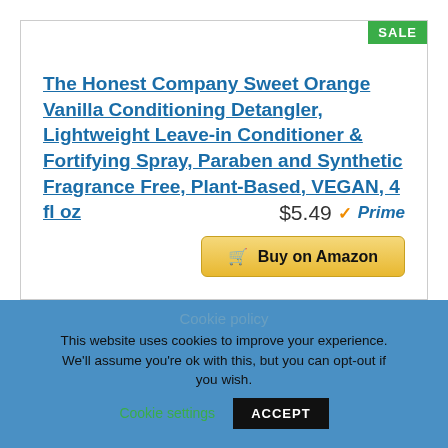SALE
The Honest Company Sweet Orange Vanilla Conditioning Detangler, Lightweight Leave-in Conditioner & Fortifying Spray, Paraben and Synthetic Fragrance Free, Plant-Based, VEGAN, 4 fl oz
$5.49 ✓Prime
🛒 Buy on Amazon
Cookie policy
This website uses cookies to improve your experience. We'll assume you're ok with this, but you can opt-out if you wish. Cookie settings ACCEPT